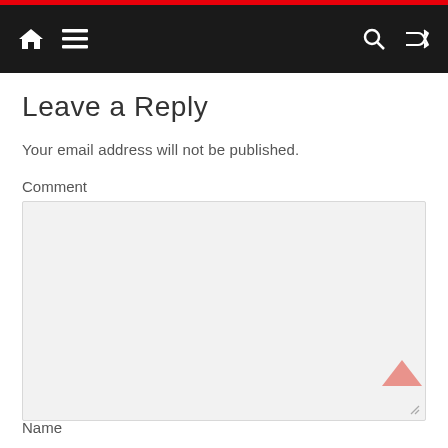Navigation bar with home icon, menu icon, search icon, shuffle icon
Leave a Reply
Your email address will not be published.
Comment
Name